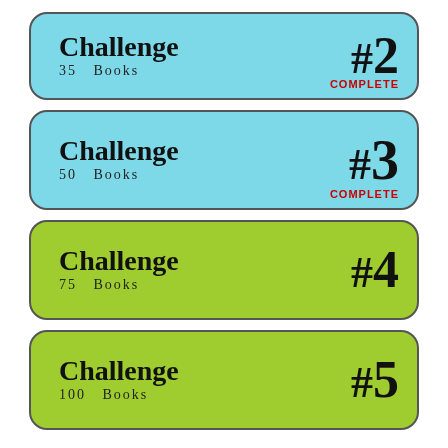[Figure (infographic): Challenge #2 badge, light blue, 35 Books, COMPLETE]
[Figure (infographic): Challenge #3 badge, light blue, 50 Books, COMPLETE]
[Figure (infographic): Challenge #4 badge, green, 75 Books]
[Figure (infographic): Challenge #5 badge, green, 100 Books]